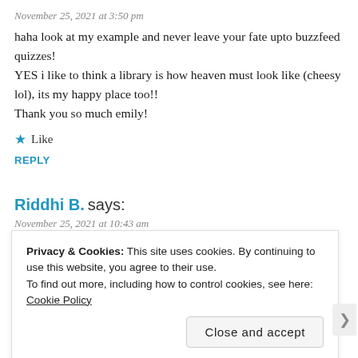November 25, 2021 at 3:50 pm
haha look at my example and never leave your fate upto buzzfeed quizzes!
YES i like to think a library is how heaven must look like (cheesy lol), its my happy place too!!
Thank you so much emily!
★ Like
REPLY
Riddhi B. says:
November 25, 2021 at 10:43 am
I checked 33/50 haha!
Privacy & Cookies: This site uses cookies. By continuing to use this website, you agree to their use.
To find out more, including how to control cookies, see here: Cookie Policy
Close and accept